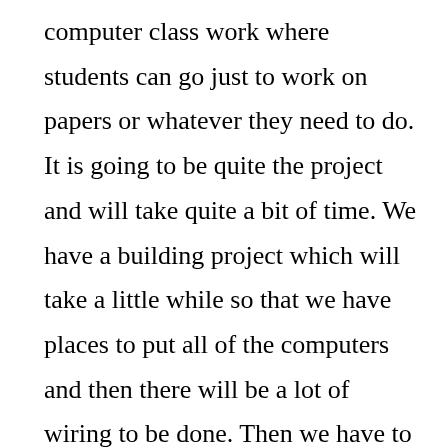computer class work where students can go just to work on papers or whatever they need to do. It is going to be quite the project and will take quite a bit of time. We have a building project which will take a little while so that we have places to put all of the computers and then there will be a lot of wiring to be done. Then we have to get the computers put into place. That is always a pretty decent challenge on its own. We still need some more computers if anyone out